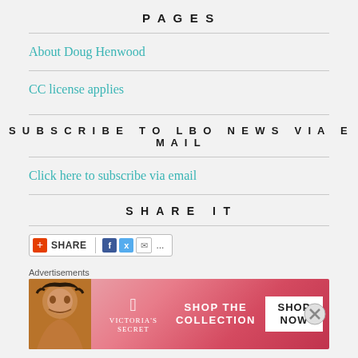PAGES
About Doug Henwood
CC license applies
SUBSCRIBE TO LBO NEWS VIA EMAIL
Click here to subscribe via email
SHARE IT
[Figure (screenshot): Share button widget with Facebook, Twitter, and email icons]
Advertisements
[Figure (photo): Victoria's Secret advertisement banner: Shop The Collection - Shop Now]